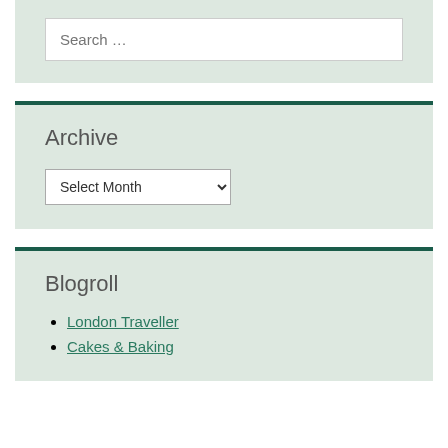Search …
Archive
Select Month
Blogroll
London Traveller
Cakes & Baking